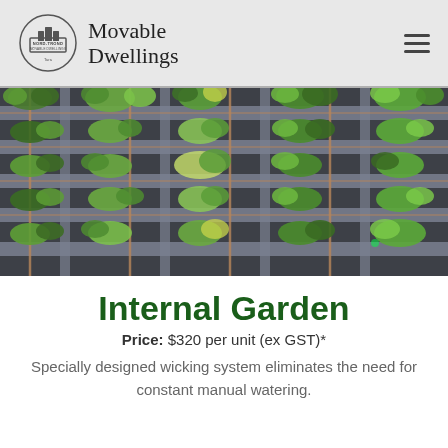Movable Dwellings — Nord-Trond Movable Dwellings Tara
[Figure (photo): Vertical wall garden with modular planting pockets arranged on a dark grey wall structure, filled with various green tropical plants and ferns, with copper/bamboo pipe irrigation system visible.]
Internal Garden
Price: $320 per unit (ex GST)*
Specially designed wicking system eliminates the need for constant manual watering.